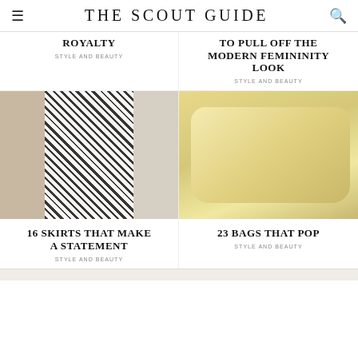THE SCOUT GUIDE
ROYALTY
STYLE AND BEAUTY
TO PULL OFF THE MODERN FEMININITY LOOK
STYLE AND BEAUTY
[Figure (photo): Person wearing a black and white printed wrap skirt with a white top]
[Figure (photo): Person holding a large pale yellow soft leather bag]
16 SKIRTS THAT MAKE A STATEMENT
STYLE AND BEAUTY
23 BAGS THAT POP
STYLE AND BEAUTY